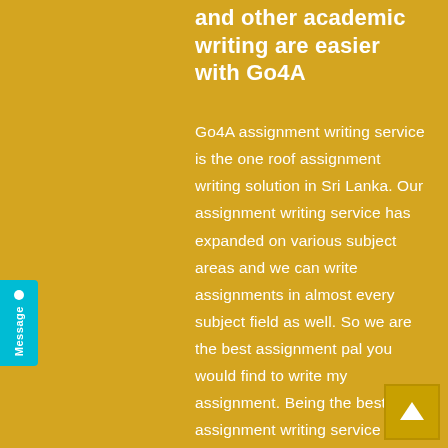and other academic writing are easier with Go4A
Go4A assignment writing service is the one roof assignment writing solution in Sri Lanka. Our assignment writing service has expanded on various subject areas and we can write assignments in almost every subject field as well. So we are the best assignment pal you would find to write my assignment. Being the best assignment writing service in Sri Lanka, Go4A academic writers take care of your writing needs in MBA assignment writing, MSc Assignment writing, MPhil Assignment writing, thesis writing and other academic writing. You can get your assignment writing support by